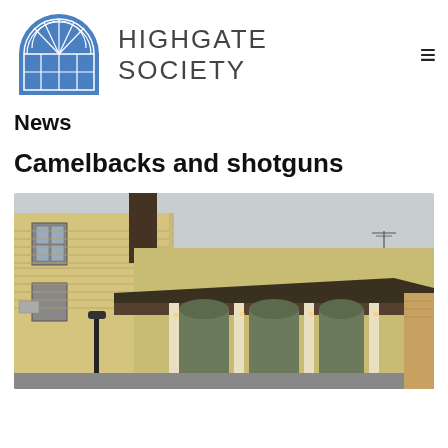[Figure (logo): Highgate Society logo: blue arched window icon on left, text HIGHGATE SOCIETY on right]
News
Camelbacks and shotguns
[Figure (photo): Street photograph of New Orleans-style shotgun houses with yellow clapboard siding, green shutters, covered porch with columns, and a street lamp in foreground]